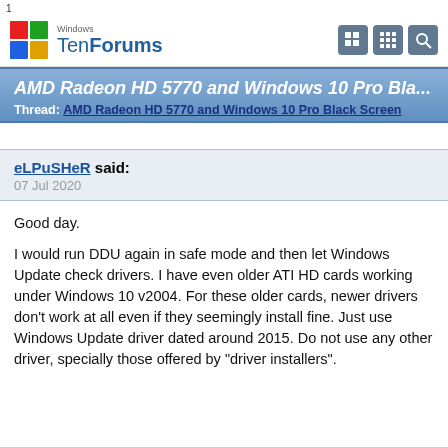1
[Figure (logo): Windows TenForums logo with colorful Windows flag icon and navigation icons]
AMD Radeon HD 5770 and Windows 10 Pro Bla...
Thread: AMD Radeon HD 5770 and Windows 10 Pro Black Screen
eLPuSHeR said:
07 Jul 2020
Good day.

I would run DDU again in safe mode and then let Windows Update check drivers. I have even older ATI HD cards working under Windows 10 v2004. For these older cards, newer drivers don't work at all even if they seemingly install fine. Just use Windows Update driver dated around 2015. Do not use any other driver, specially those offered by "driver installers".